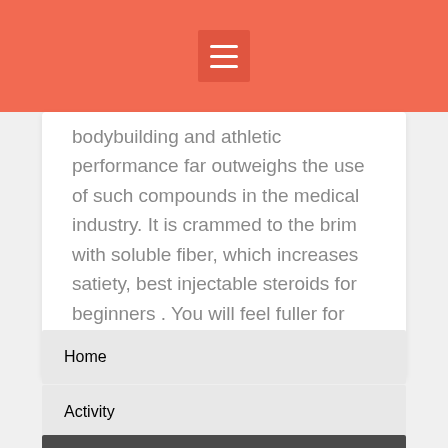bodybuilding and athletic performance far outweighs the use of such compounds in the medical industry. It is crammed to the brim with soluble fiber, which increases satiety, best injectable steroids for beginners . You will feel fuller for hours after a meal.
Home
Activity